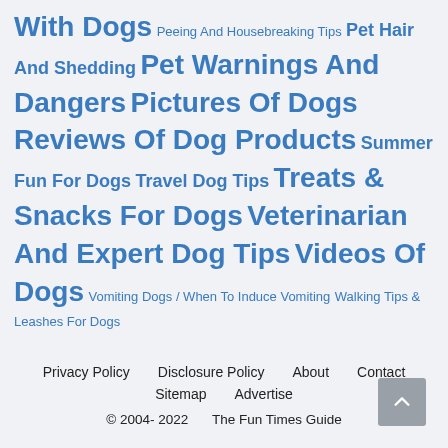With Dogs Peeing And Housebreaking Tips Pet Hair And Shedding Pet Warnings And Dangers Pictures Of Dogs Reviews Of Dog Products Summer Fun For Dogs Travel Dog Tips Treats & Snacks For Dogs Veterinarian And Expert Dog Tips Videos Of Dogs Vomiting Dogs / When To Induce Vomiting Walking Tips & Leashes For Dogs
Privacy Policy  Disclosure Policy  About  Contact  Sitemap  Advertise  © 2004- 2022 The Fun Times Guide